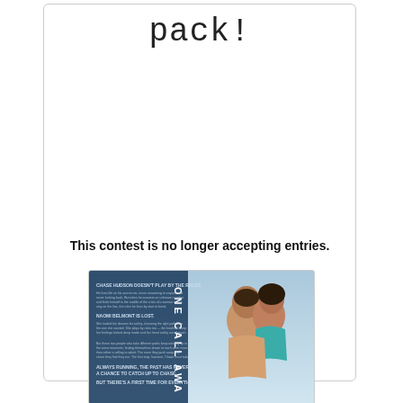pack!
This contest is no longer accepting entries.
powered by Rafflecopter
[Figure (illustration): Book cover for 'One Call Away' showing a couple about to kiss, with teal and white coloring and text on the left side describing the story]